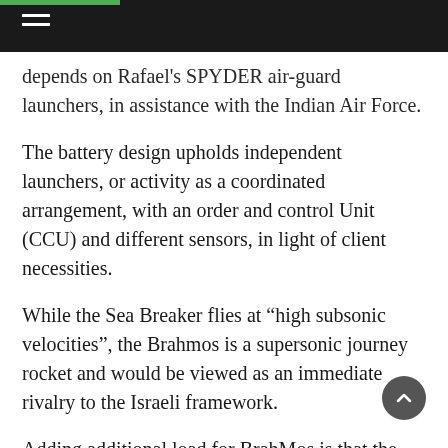depends on Rafael's SPYDER air-guard launchers, in assistance with the Indian Air Force.
The battery design upholds independent launchers, or activity as a coordinated arrangement, with an order and control Unit (CCU) and different sensors, in light of client necessities.
While the Sea Breaker flies at “high subsonic velocities”, the Brahmos is a supersonic journey rocket and would be viewed as an immediate rivalry to the Israeli framework.
Adding additional load for BrahMos is that the